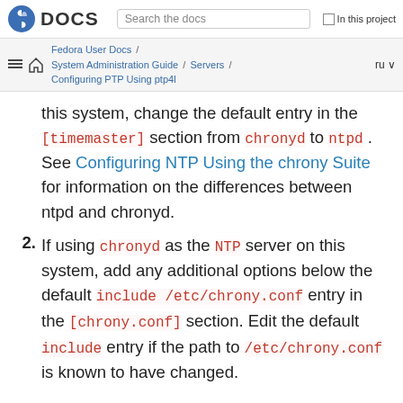Fedora DOCS | Search the docs | In this project
Fedora User Docs / System Administration Guide / Servers / Configuring PTP Using ptp4l | ru
this system, change the default entry in the [timemaster] section from chronyd to ntpd . See Configuring NTP Using the chrony Suite for information on the differences between ntpd and chronyd.
2. If using chronyd as the NTP server on this system, add any additional options below the default include /etc/chrony.conf entry in the [chrony.conf] section. Edit the default include entry if the path to /etc/chrony.conf is known to have changed.